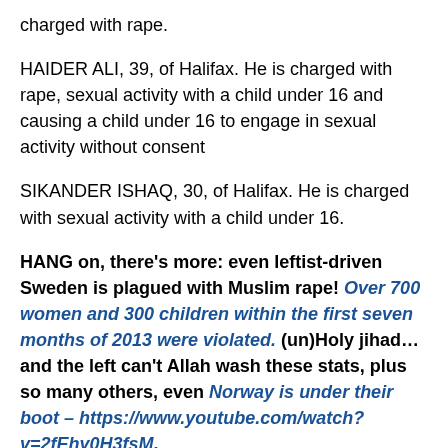charged with rape.
HAIDER ALI, 39, of Halifax. He is charged with rape, sexual activity with a child under 16 and causing a child under 16 to engage in sexual activity without consent
SIKANDER ISHAQ, 30, of Halifax. He is charged with sexual activity with a child under 16.
HANG on, there's more: even leftist-driven Sweden is plagued with Muslim rape! Over 700 women and 300 children within the first seven months of 2013 were violated. (un)Holy jihad…and the left can't Allah wash these stats, plus so many others, even Norway is under their boot – https://www.youtube.com/watch?v=2fEhy0H3fsM.
MOST significantly, what separates the Muslim